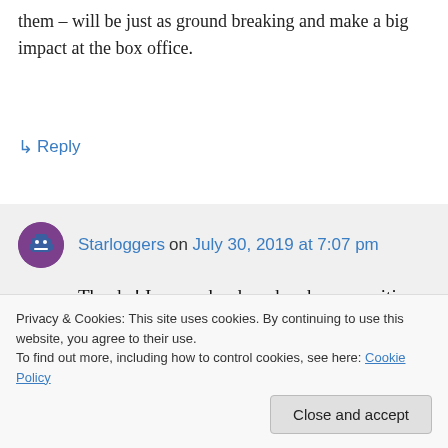them – will be just as ground breaking and make a big impact at the box office.
↳ Reply
Starloggers on July 30, 2019 at 7:07 pm
Thanks! I remember how harsh some critics were towards Avatar when it was initially released. Yet the film struck a chord with people to the point it was nominated
up enjoying it. I've see this happen recently
Privacy & Cookies: This site uses cookies. By continuing to use this website, you agree to their use.
To find out more, including how to control cookies, see here: Cookie Policy
Close and accept